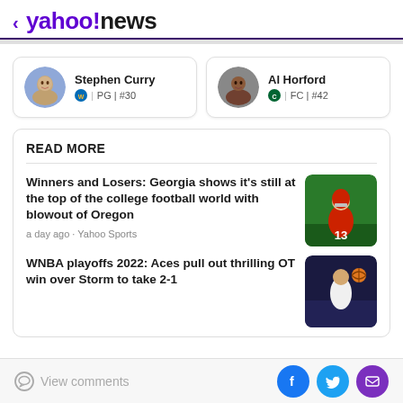< yahoo!news
Stephen Curry | PG | #30
Al Horford | FC | #42
READ MORE
Winners and Losers: Georgia shows it's still at the top of the college football world with blowout of Oregon
a day ago · Yahoo Sports
WNBA playoffs 2022: Aces pull out thrilling OT win over Storm to take 2-1
View comments